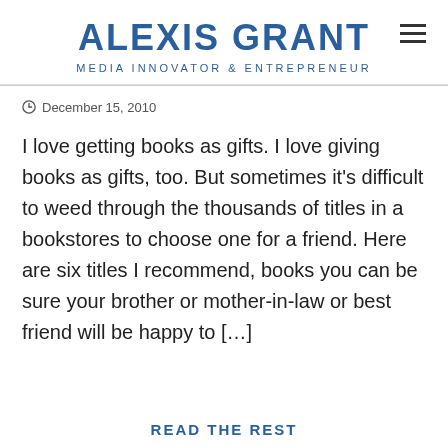ALEXIS GRANT
MEDIA INNOVATOR & ENTREPRENEUR
December 15, 2010
I love getting books as gifts. I love giving books as gifts, too. But sometimes it’s difficult to weed through the thousands of titles in a bookstores to choose one for a friend. Here are six titles I recommend, books you can be sure your brother or mother-in-law or best friend will be happy to […]
READ THE REST